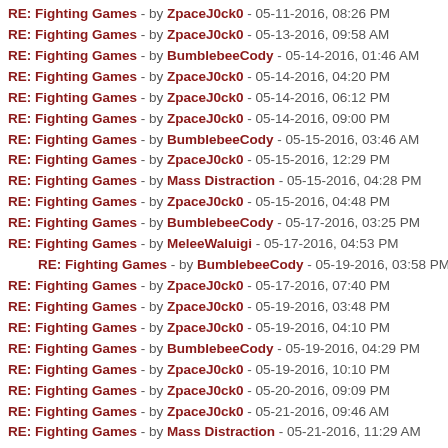RE: Fighting Games - by ZpaceJ0ck0 - 05-11-2016, 08:26 PM
RE: Fighting Games - by ZpaceJ0ck0 - 05-13-2016, 09:58 AM
RE: Fighting Games - by BumblebeeCody - 05-14-2016, 01:46 AM
RE: Fighting Games - by ZpaceJ0ck0 - 05-14-2016, 04:20 PM
RE: Fighting Games - by ZpaceJ0ck0 - 05-14-2016, 06:12 PM
RE: Fighting Games - by ZpaceJ0ck0 - 05-14-2016, 09:00 PM
RE: Fighting Games - by BumblebeeCody - 05-15-2016, 03:46 AM
RE: Fighting Games - by ZpaceJ0ck0 - 05-15-2016, 12:29 PM
RE: Fighting Games - by Mass Distraction - 05-15-2016, 04:28 PM
RE: Fighting Games - by ZpaceJ0ck0 - 05-15-2016, 04:48 PM
RE: Fighting Games - by BumblebeeCody - 05-17-2016, 03:25 PM
RE: Fighting Games - by MeleeWaluigi - 05-17-2016, 04:53 PM
RE: Fighting Games - by BumblebeeCody - 05-19-2016, 03:58 PM
RE: Fighting Games - by ZpaceJ0ck0 - 05-17-2016, 07:40 PM
RE: Fighting Games - by ZpaceJ0ck0 - 05-19-2016, 03:48 PM
RE: Fighting Games - by ZpaceJ0ck0 - 05-19-2016, 04:10 PM
RE: Fighting Games - by BumblebeeCody - 05-19-2016, 04:29 PM
RE: Fighting Games - by ZpaceJ0ck0 - 05-19-2016, 10:10 PM
RE: Fighting Games - by ZpaceJ0ck0 - 05-20-2016, 09:09 PM
RE: Fighting Games - by ZpaceJ0ck0 - 05-21-2016, 09:46 AM
RE: Fighting Games - by Mass Distraction - 05-21-2016, 11:29 AM
RE: Fighting Games - by ZpaceJ0ck0 - 05-21-2016, 04:06 PM
RE: Fighting Games - by Psychospacecow - 05-21-2016, 05:40 PM
RE: Fighting Games - by Psychospacecow - 05-21-2016, 04:20 PM
RE: Fighting Games - by ...